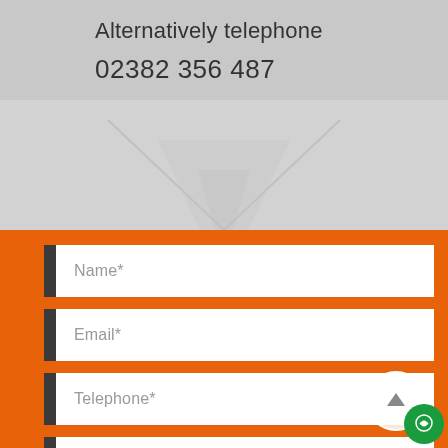Alternatively telephone
02382 356 487
[Figure (screenshot): Contact form with orange background showing fields: Name*, Email*, Telephone*, Postcode, and a partially visible fifth field. Includes a scroll-to-top button and a green chat button.]